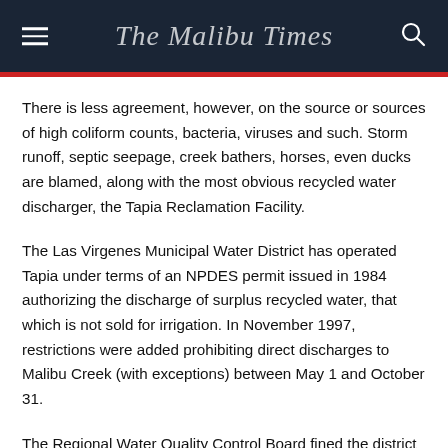The Malibu Times
There is less agreement, however, on the source or sources of high coliform counts, bacteria, viruses and such. Storm runoff, septic seepage, creek bathers, horses, even ducks are blamed, along with the most obvious recycled water discharger, the Tapia Reclamation Facility.
The Las Virgenes Municipal Water District has operated Tapia under terms of an NPDES permit issued in 1984 authorizing the discharge of surplus recycled water, that which is not sold for irrigation. In November 1997, restrictions were added prohibiting direct discharges to Malibu Creek (with exceptions) between May 1 and October 31.
The Regional Water Quality Control Board fined the district for discharges between those dates last year. In an effort to comply with terms of the permit, the district and its joint venture partner